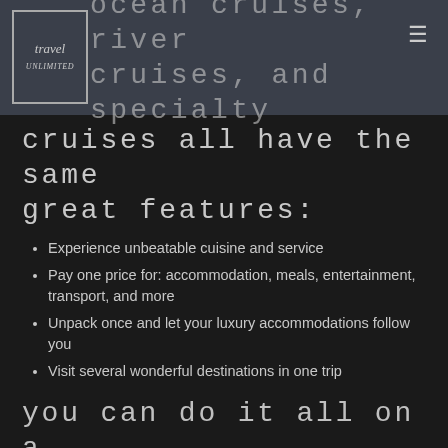Ocean cruises, river cruises, and specialty cruises all have the same great features:
cruises all have the same great features:
Experience unbeatable cuisine and service
Pay one price for: accommodation, meals, entertainment, transport, and more
Unpack once and let your luxury accommodations follow you
Visit several wonderful destinations in one trip
You can do it all on a cruise:
Engage in soft or hard adventure
Enjoy pampering at the spa
Experience exotic new locations
Relax and unwind or party hearty